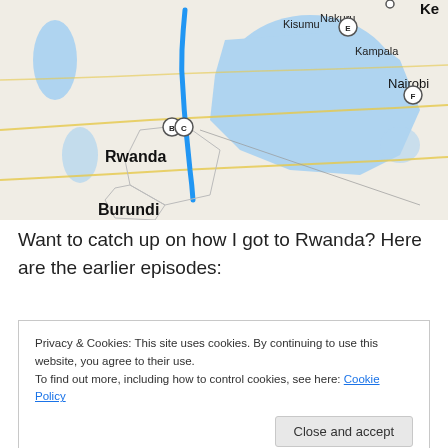[Figure (map): Map showing East/Central Africa region including Rwanda, Burundi, Uganda (Kampala), Kenya (Nakuru, Nairobi, Kisumu), with Lake Victoria visible. A blue route is marked through Rwanda. Lettered circle markers (B, C, E, F) are visible. Country labels for Rwanda and Burundi are shown.]
Want to catch up on how I got to Rwanda? Here are the earlier episodes:
Privacy & Cookies: This site uses cookies. By continuing to use this website, you agree to their use.
To find out more, including how to control cookies, see here: Cookie Policy
Close and accept